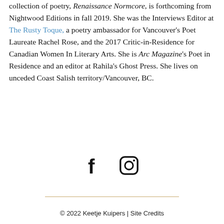collection of poetry, Renaissance Normcore, is forthcoming from Nightwood Editions in fall 2019. She was the Interviews Editor at The Rusty Toque, a poetry ambassador for Vancouver's Poet Laureate Rachel Rose, and the 2017 Critic-in-Residence for Canadian Women In Literary Arts. She is Arc Magazine's Poet in Residence and an editor at Rahila's Ghost Press. She lives on unceded Coast Salish territory/Vancouver, BC.
[Figure (other): Social media icons: Facebook and Instagram]
© 2022 Keetje Kuipers | Site Credits